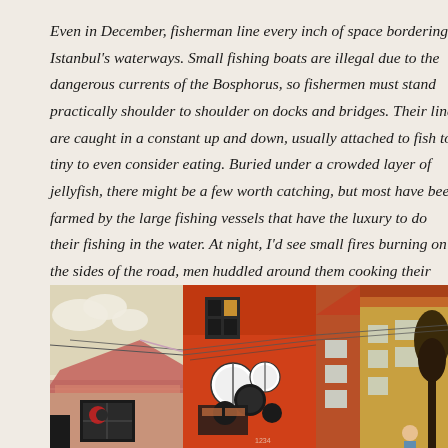Even in December, fisherman line every inch of space bordering Istanbul's waterways. Small fishing boats are illegal due to the dangerous currents of the Bosphorus, so fishermen must stand practically shoulder to shoulder on docks and bridges. Their lines are caught in a constant up and down, usually attached to fish too tiny to even consider eating. Buried under a crowded layer of jellyfish, there might be a few worth catching, but most have been farmed by the large fishing vessels that have the luxury to do their fishing in the water. At night, I'd see small fires burning on the sides of the road, men huddled around them cooking their finest catch for a nice dinner.
[Figure (illustration): Colorful illustrated urban scene showing Turkish neighborhood houses and buildings in red, orange, yellow and beige tones, with satellite dishes, wires, windows, and rooftops arranged in a triptych-style composition.]